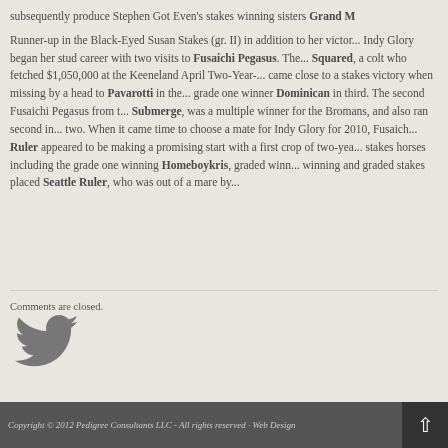subsequently produce Stephen Got Even's stakes winning sisters Grand M... Runner-up in the Black-Eyed Susan Stakes (gr. II) in addition to her victor... Indy Glory began her stud career with two visits to Fusaichi Pegasus. The... Squared, a colt who fetched $1,050,000 at the Keeneland April Two-Year-... came close to a stakes victory when missing by a head to Pavarotti in the... grade one winner Dominican in third. The second Fusaichi Pegasus from t... Submerge, was a multiple winner for the Bromans, and also ran second in... two. When it came time to choose a mate for Indy Glory for 2010, Fusaich... Ruler appeared to be making a promising start with a first crop of two-yea... stakes horses including the grade one winning Homeboykris, graded winn... winning and graded stakes placed Seattle Ruler, who was out of a mare by...
Comments are closed.
[Figure (logo): Twitter bird icon in grey]
Copyright © 2012 Pedigree Consultants LLC - All rights reserved · Web Design